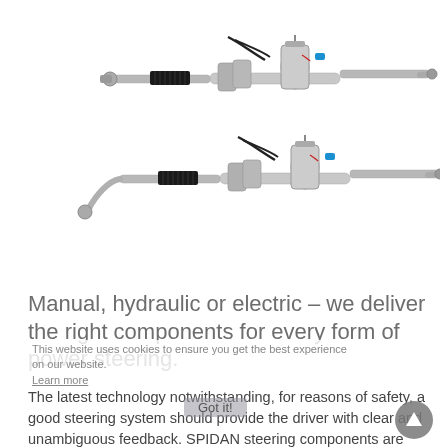[Figure (photo): Two electric power steering rack assemblies photographed on white background, showing rack tubes, tie rod ends, electric motors, boots, and wiring connectors]
Manual, hydraulic or electric – we deliver the right components for every form of power steering.
The latest technology notwithstanding, for reasons of safety, a good steering system should provide the driver with clear and unambiguous feedback. SPIDAN steering components are precision